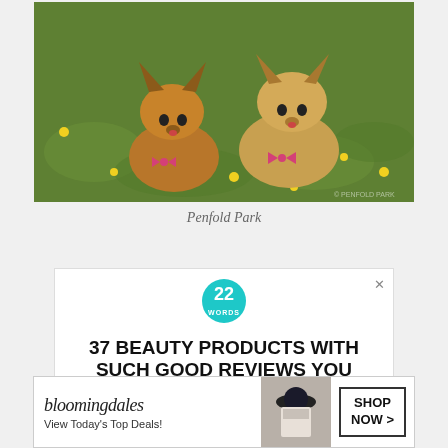[Figure (photo): Two Yorkshire Terrier dogs wearing pink gingham bow ties sitting on green grass with yellow flowers]
Penfold Park
[Figure (screenshot): Advertisement overlay with '22 Words' teal circular logo and headline '37 BEAUTY PRODUCTS WITH SUCH GOOD REVIEWS YOU MIGHT WANT TO TRY THEM YOURSELF' with a CLOSE button]
[Figure (screenshot): Bloomingdales advertisement banner: 'View Today's Top Deals!' with SHOP NOW > button]